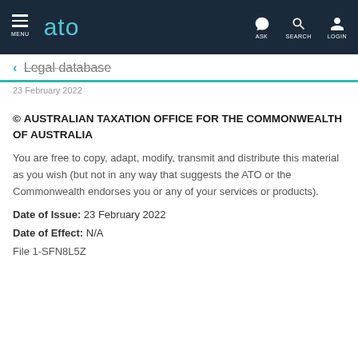MENU | ato | ASK | SEARCH | LOGIN
← Legal database
23 February 2022
© AUSTRALIAN TAXATION OFFICE FOR THE COMMONWEALTH OF AUSTRALIA
You are free to copy, adapt, modify, transmit and distribute this material as you wish (but not in any way that suggests the ATO or the Commonwealth endorses you or any of your services or products).
Date of Issue: 23 February 2022
Date of Effect: N/A
File 1-SFN8L5Z